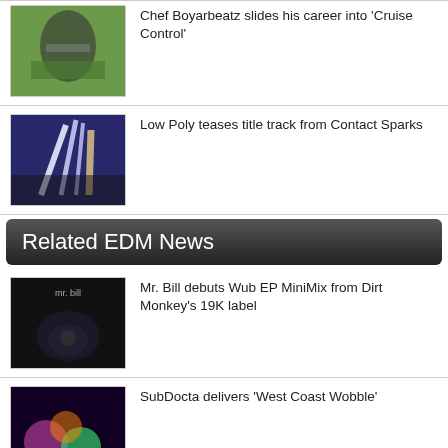[Figure (photo): Thumbnail photo of Chef Boyarbeatz performing outdoors]
Chef Boyarbeatz slides his career into 'Cruise Control'
[Figure (photo): Thumbnail of Low Poly concert with light beams]
Low Poly teases title track from Contact Sparks
Related EDM News
[Figure (photo): Thumbnail of Mr. Bill dark artistic image]
Mr. Bill debuts Wub EP MiniMix from Dirt Monkey's 19K label
[Figure (photo): SubDocta West Coast Wobble album art]
SubDocta delivers 'West Coast Wobble'
[Figure (photo): SubDocta Hypnosis thumbnail]
SubDocta goes old school on 'Hypnosis'